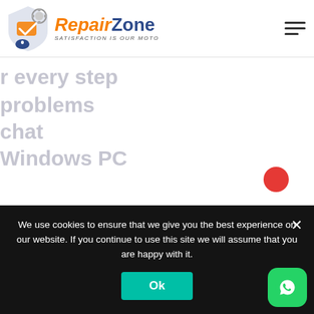[Figure (logo): RepairZone logo with shield/wrench icon in orange and blue, tagline SATISFACTION IS OUR MOTO]
r every step
problems
chat
Windows PC
We use cookies to ensure that we give you the best experience on our website. If you continue to use this site we will assume that you are happy with it.
Ok